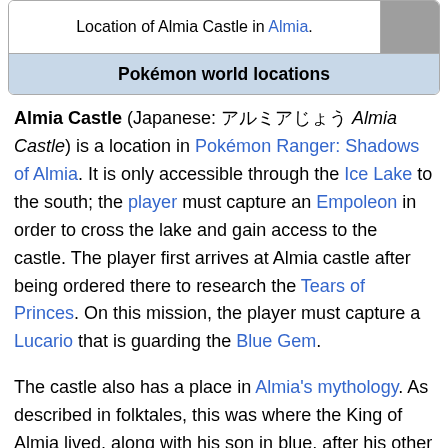| Location of Almia Castle in Almia. |
| Pokémon world locations |
Almia Castle (Japanese: アルミアじょう Almia Castle) is a location in Pokémon Ranger: Shadows of Almia. It is only accessible through the Ice Lake to the south; the player must capture an Empoleon in order to cross the lake and gain access to the castle. The player first arrives at Almia castle after being ordered there to research the Tears of Princes. On this mission, the player must capture a Lucario that is guarding the Blue Gem.
The castle also has a place in Almia's mythology. As described in folktales, this was where the King of Almia lived, along with his son in blue, after his other two sons were banished to Volcano Cave and Hippowdon Temple. In the quest Mischievous Sneasel, the player captures a